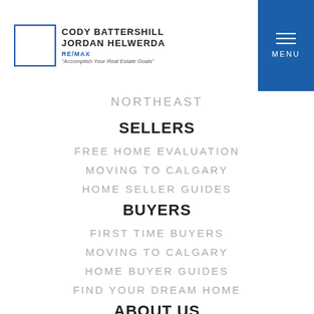CODY BATTERSHILL JORDAN HELWERDA RE/MAX "Accomplish Your Real Estate Goals"
NORTHEAST
SELLERS
FREE HOME EVALUATION
MOVING TO CALGARY
HOME SELLER GUIDES
BUYERS
FIRST TIME BUYERS
MOVING TO CALGARY
HOME BUYER GUIDES
FIND YOUR DREAM HOME
ABOUT US
CONTACT
MEET... DAN